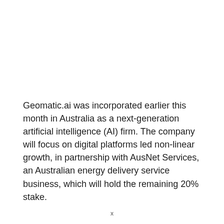Geomatic.ai was incorporated earlier this month in Australia as a next-generation artificial intelligence (AI) firm. The company will focus on digital platforms led non-linear growth, in partnership with AusNet Services, an Australian energy delivery service business, which will hold the remaining 20% stake.
x